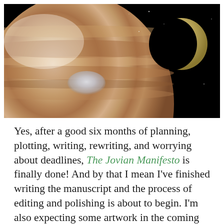[Figure (photo): Space photograph showing Jupiter's surface on the left with distinctive bands and the Great Red Spot visible, and a crescent moon (Io or similar Jovian moon) in the upper right against a black space background.]
Yes, after a good six months of planning, plotting, writing, rewriting, and worrying about deadlines, The Jovian Manifesto is finally done! And by that I mean I've finished writing the manuscript and the process of editing and polishing is about to begin. I'm also expecting some artwork in the coming weeks so there are plenty of surprises ahead!